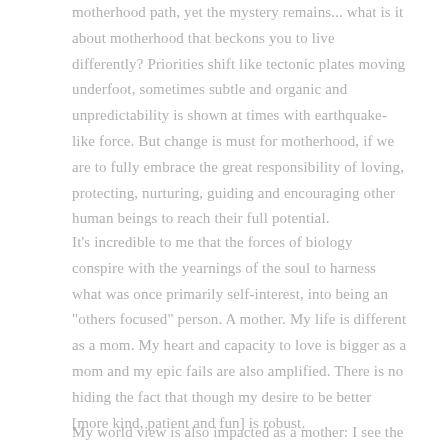motherhood path, yet the mystery remains... what is it about motherhood that beckons you to live differently? Priorities shift like tectonic plates moving underfoot, sometimes subtle and organic and unpredictability is shown at times with earthquake-like force. But change is must for motherhood, if we are to fully embrace the great responsibility of loving, protecting, nurturing, guiding and encouraging other human beings to reach their full potential.
It's incredible to me that the forces of biology conspire with the yearnings of the soul to harness what was once primarily self-interest, into being an "others focused" person. A mother. My life is different as a mom. My heart and capacity to love is bigger as a mom and my epic fails are also amplified. There is no hiding the fact that though my desire to be better [more kind, patient and fun] is robust.
My world view is also impacted as a mother: I see the world